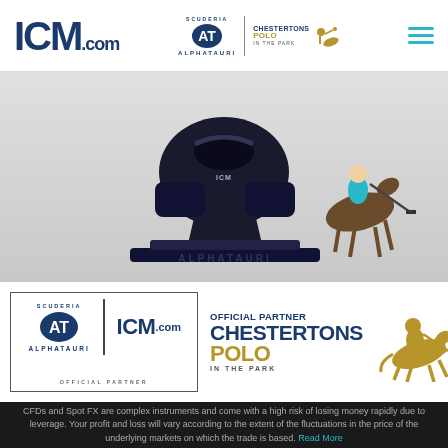[Figure (logo): ICM.com logo with AlphaTauri and Chestertons Polo logos in header navigation bar]
[Figure (photo): Front view of Scuderia AlphaTauri Formula 1 car in grey/dark color, overlaid with a polo player on horseback on the right side]
[Figure (logo): Scuderia AlphaTauri and ICM.com Official Partner box logo on left; Chestertons Polo in the Park Official Partner logo with golden polo player on right]
CFDs and Spot FX are complex instruments and come with a high risk of losing money rapidly due to leverage. Your profit and loss will vary according to the extent of the fluctuations in the price of the underlying markets on which the trade is based. Read More